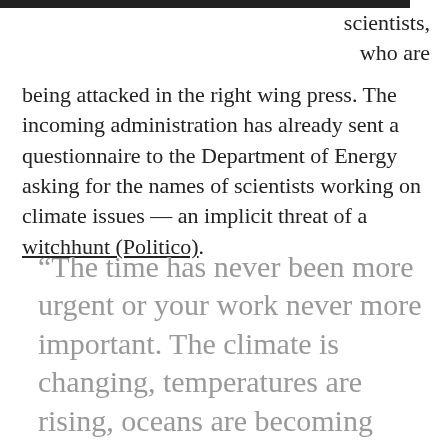[Figure (photo): Partial image visible at top of page — dark/black horizontal strip]
scientists, who are being attacked in the right wing press. The incoming administration has already sent a questionnaire to the Department of Energy asking for the names of scientists working on climate issues — an implicit threat of a witchhunt (Politico).
“The time has never been more urgent or your work never more important. The climate is changing, temperatures are rising, oceans are becoming more acidified, habitats are under